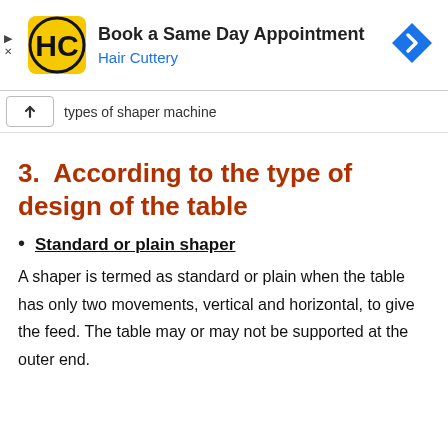[Figure (screenshot): Hair Cuttery advertisement banner: logo (HC in yellow circle), 'Book a Same Day Appointment' in bold, 'Hair Cuttery' in blue, blue diamond navigation arrow icon on right, play/close controls on left.]
types of shaper machine
3.  According to the type of design of the table
Standard or plain shaper
A shaper is termed as standard or plain when the table has only two movements, vertical and horizontal, to give the feed. The table may or may not be supported at the outer end.